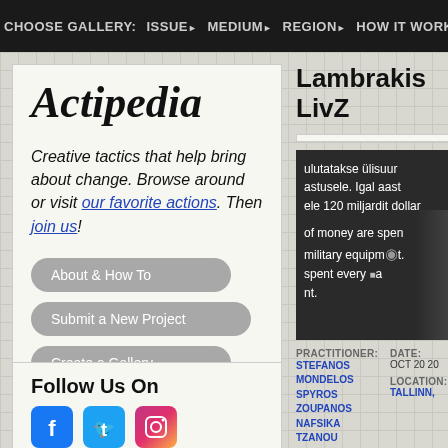CHOOSE GALLERY: ISSUE MEDIUM REGION HOW IT WORKS
Actipedia
Creative tactics that help bring about change. Browse around or visit our favorite actions. Then join us!
About & How To
Submit a New Project
Create a Gallery
Lambrakis LivZ
[Figure (photo): A speaker at a podium with text in Estonian visible on a screen behind them, with text about military equipment spending]
PRACTITIONER: STEFANOS MONDELOS SPYROS ZOUPANOS NAFSIKA TZANOU
DATE: OCT 20 20
LOCATION: TALLINN,
first time in the 1960s on
Follow Us On